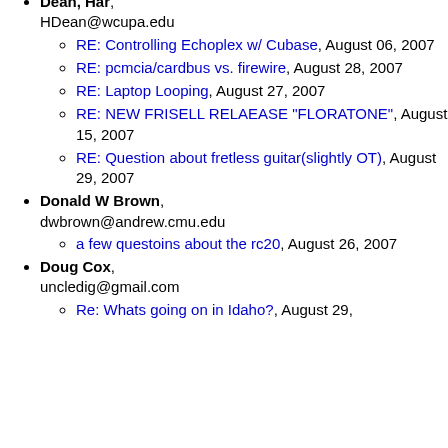Dean, Har, HDean@wcupa.edu
RE: Controlling Echoplex w/ Cubase, August 06, 2007
RE: pcmcia/cardbus vs. firewire, August 28, 2007
RE: Laptop Looping, August 27, 2007
RE: NEW FRISELL RELAEASE "FLORATONE", August 15, 2007
RE: Question about fretless guitar(slightly OT), August 29, 2007
Donald W Brown, dwbrown@andrew.cmu.edu
a few questoins about the rc20, August 26, 2007
Doug Cox, uncledig@gmail.com
Re: Whats going on in Idaho?, August 29,